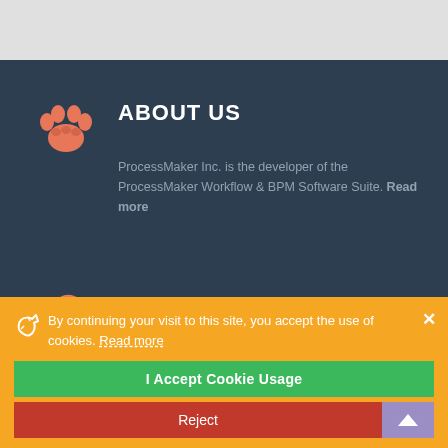ABOUT US
ProcessMaker Inc. is the developer of the ProcessMaker Workflow & BPM Software Suite. Read more
JOIN US ON TWITTER @processmaker
Register now to join our banking webinar "Measuring
By continuing your visit to this site, you accept the use of cookies. Read more
I Accept Cookie Usage
Reject
Posted on Aug 19, 2022